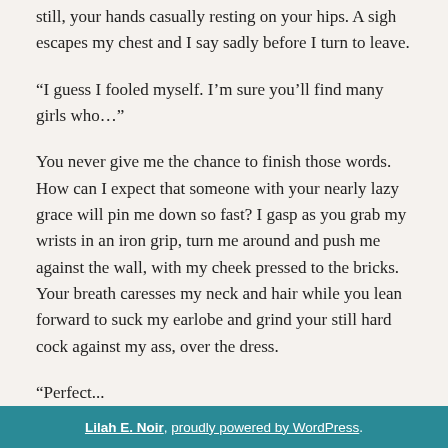still, your hands casually resting on your hips. A sigh escapes my chest and I say sadly before I turn to leave.
“I guess I fooled myself. I’m sure you’ll find many girls who…”
You never give me the chance to finish those words. How can I expect that someone with your nearly lazy grace will pin me down so fast? I gasp as you grab my wrists in an iron grip, turn me around and push me against the wall, with my cheek pressed to the bricks. Your breath caresses my neck and hair while you lean forward to suck my earlobe and grind your still hard cock against my ass, over the dress.
“Perfect...
Lilah E. Noir, proudly powered by WordPress.